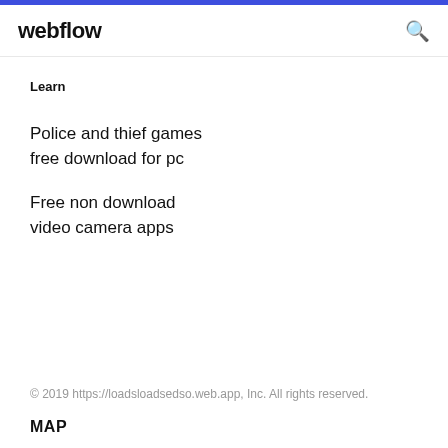webflow
Learn
Police and thief games free download for pc
Free non download video camera apps
© 2019 https://loadsloadsedso.web.app, Inc. All rights reserved.
MAP